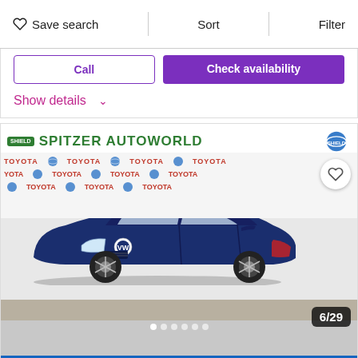Save search  Sort  Filter
[Figure (screenshot): Partial car listing card showing Call and Check availability buttons, and Show details toggle]
[Figure (photo): Blue Volkswagen Jetta sedan photographed indoors at Spitzer Autoworld Toyota dealership. Image counter shows 6/29. Caption reads: One Owner!!Leather Seats!Moonroof!Smart Key]
One Owner!!Leather Seats!Moonroof!Smart Key